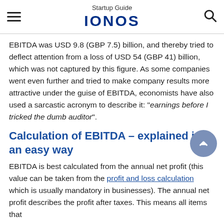Startup Guide IONOS
EBITDA was USD 9.8 (GBP 7.5) billion, and thereby tried to deflect attention from a loss of USD 54 (GBP 41) billion, which was not captured by this figure. As some companies went even further and tried to make company results more attractive under the guise of EBITDA, economists have also used a sarcastic acronym to describe it: “earnings before I tricked the dumb auditor”.
Calculation of EBITDA – explained in an easy way
EBITDA is best calculated from the annual net profit (this value can be taken from the profit and loss calculation which is usually mandatory in businesses). The annual net profit describes the profit after taxes. This means all items that